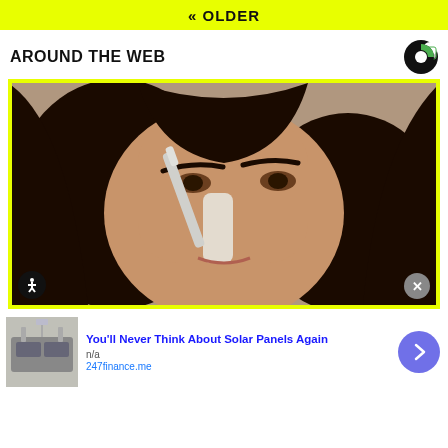« OLDER
AROUND THE WEB
[Figure (photo): Close-up photo of a young woman with dark hair applying a white cream or gel to her nose with a white brush or applicator]
You'll Never Think About Solar Panels Again
n/a
247finance.me